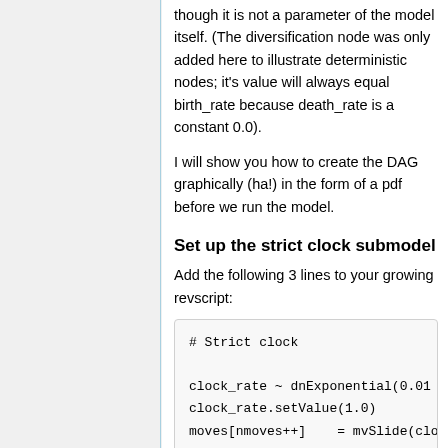though it is not a parameter of the model itself. (The diversification node was only added here to illustrate deterministic nodes; it's value will always equal birth_rate because death_rate is a constant 0.0).
I will show you how to create the DAG graphically (ha!) in the form of a pdf before we run the model.
Set up the strict clock submodel
Add the following 3 lines to your growing revscript:
# Strict clock

clock_rate ~ dnExponential(0.01
clock_rate.setValue(1.0)
moves[nmoves++]    = mvSlide(clo